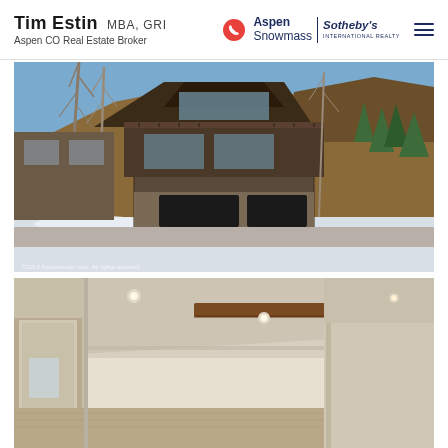Tim Estin MBA, GRI — Aspen CO Real Estate Broker — Aspen Snowmass | Sotheby's International Realty
[Figure (photo): Exterior photo of a large luxury mountain home in Aspen, Colorado. Three-story dark wood and stone structure with multiple large windows, balconies, and a two-car garage at street level. Bare aspen trees in foreground, snow on the ground, red rocky mountain hillside in background. Copyright watermark reads '©2012 Fotoenvision.com. All rights reserved.']
[Figure (photo): Interior photo of a luxury home showing a vaulted ceiling with exposed dark wood beam, recessed lighting, cream/beige walls, hardwood floor trim, and an adjacent room visible through a doorway. Framed artwork visible in the background on the right.]